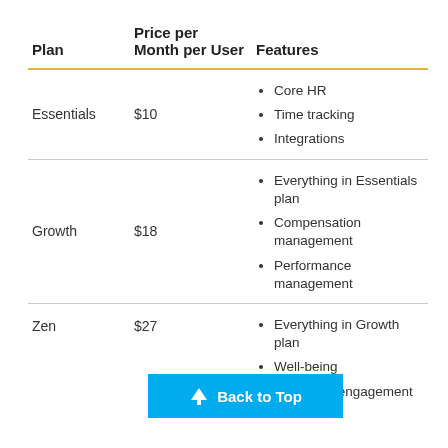| Plan | Price per Month per User | Features |
| --- | --- | --- |
| Essentials | $10 | Core HR
Time tracking
Integrations |
| Growth | $18 | Everything in Essentials plan
Compensation management
Performance management |
| Zen | $27 | Everything in Growth plan
Well-being
Employee engagement surveys |